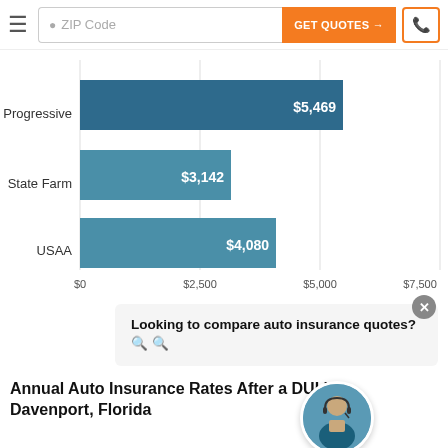ZIP Code | GET QUOTES → | phone icon
[Figure (bar-chart): Auto Insurance Rates by Provider]
Looking to compare auto insurance quotes? 🔍 🔍
Annual Auto Insurance Rates After a DUI in Davenport, Florida
| Insurance | Annual Auto Insurance |
| --- | --- |